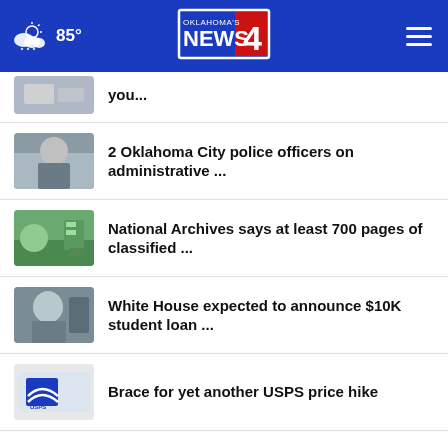Oklahoma's News 4 — 85°
2 Oklahoma City police officers on administrative ...
National Archives says at least 700 pages of classified ...
White House expected to announce $10K student loan ...
Brace for yet another USPS price hike
More Stories ›